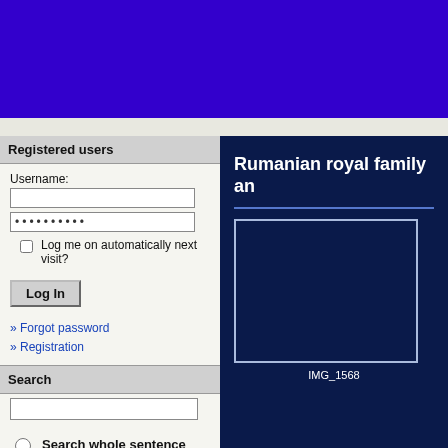[Figure (screenshot): Purple website header banner]
Registered users
Username:
•••••••••• (password dots)
Log me on automatically next visit?
Log In
» Forgot password
» Registration
Search
Search whole sentence
Search individual words
Only image name
All fields
Rumanian royal family an
[Figure (photo): Dark navy image box with border, label IMG_1568 below]
IMG_1568